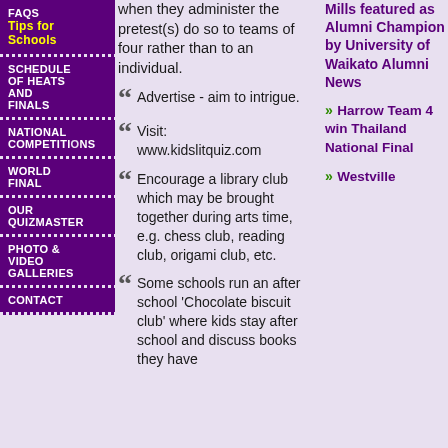FAQs
Tips for Schools
SCHEDULE OF HEATS AND FINALS
NATIONAL COMPETITIONS
WORLD FINAL
OUR QUIZMASTER
PHOTO & VIDEO GALLERIES
CONTACT
when they administer the pretest(s) do so to teams of four rather than to an individual.
Advertise - aim to intrigue.
Visit: www.kidslitquiz.com
Encourage a library club which may be brought together during arts time, e.g. chess club, reading club, origami club, etc.
Some schools run an after school 'Chocolate biscuit club' where kids stay after school and
Mills featured as Alumni Champion by University of Waikato Alumni News
>> Harrow Team 4 win Thailand National Final
>> Westville